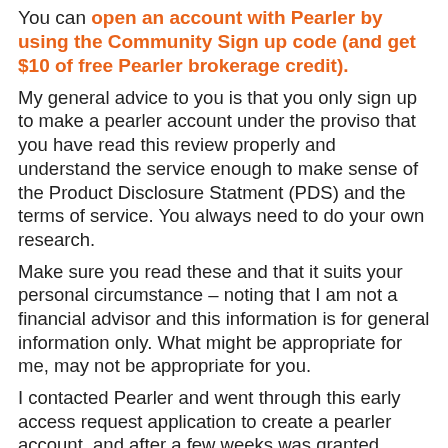You can open an account with Pearler by using the Community Sign up code (and get $10 of free Pearler brokerage credit). My general advice to you is that you only sign up to make a pearler account under the proviso that you have read this review properly and understand the service enough to make sense of the Product Disclosure Statment (PDS) and the terms of service. You always need to do your own research. Make sure you read these and that it suits your personal circumstance – noting that I am not a financial advisor and this information is for general information only. What might be appropriate for me, may not be appropriate for you. I contacted Pearler and went through this early access request application to create a pearler account, and after a few weeks was granted access. The process to